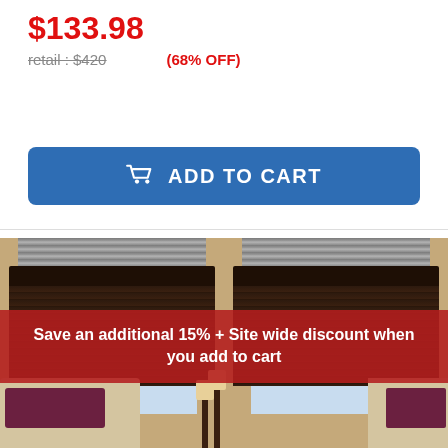$133.98
retail : $420   (68% OFF)
ADD TO CART
[Figure (photo): Room interior with dark wood window blinds/shades, two windows shown, with sofa and candle decor visible. A red banner overlay reads: Save an additional 15% + Site wide discount when you add to cart]
Save an additional 15% + Site wide discount when you add to cart